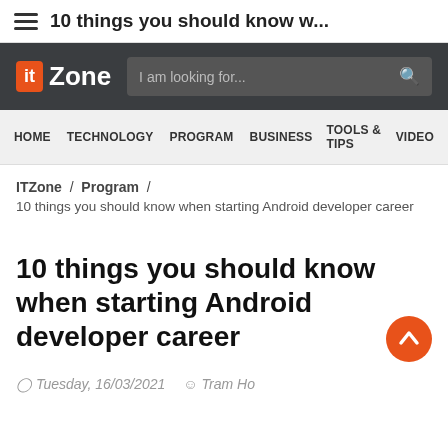☰  10 things you should know w...
[Figure (logo): ITZone website header with orange 'it' logo box, 'Zone' text in white, and search bar with placeholder 'I am looking for...']
HOME   TECHNOLOGY   PROGRAM   BUSINESS   TOOLS & TIPS   VIDEO
ITZone / Program / 
10 things you should know when starting Android developer career
10 things you should know when starting Android developer career
Tuesday, 16/03/2021   Tram Ho